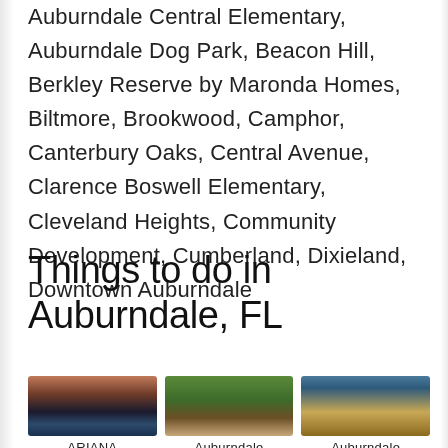Auburndale Central Elementary, Auburndale Dog Park, Beacon Hill, Berkley Reserve by Maronda Homes, Biltmore, Brookwood, Camphor, Canterbury Oaks, Central Avenue, Clarence Boswell Elementary, Cleveland Heights, Community Development, Cumberland, Dixieland, Downtown Auburndale
Things to do in Auburndale, FL
[Figure (photo): Sunset over a lake with silhouetted trees and dock]
ARIANA
[Figure (photo): Wooden boardwalk trail through green forest]
Auburndale
[Figure (photo): Indoor sports gymnasium with basketball courts]
Auburndale